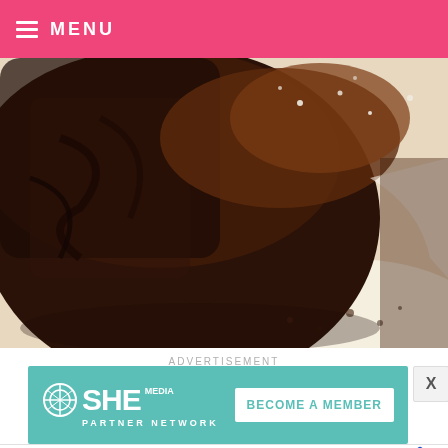MENU
[Figure (photo): Close-up photograph of a dark chocolate cake or brownie, showing rich moist texture with crumbs and a creamy filling, on a white plate]
ADVERTISEMENT
[Figure (infographic): SHE Media Partner Network advertisement banner with 'BECOME A MEMBER' button on teal/mint background]
[Figure (infographic): Bottom advertisement: HC logo (yellow), Ashburn OPEN 8AM-8PM, 44110 Ashburn Shopping Plaza...]